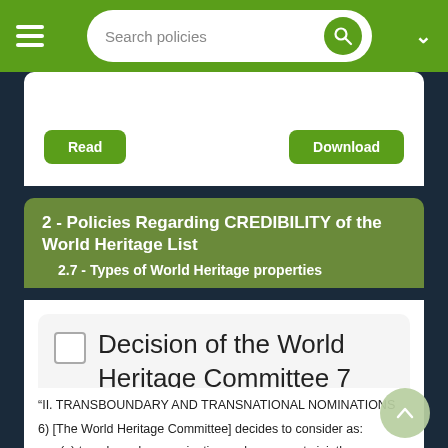Search policies
2 - Policies Regarding CREDIBILITY of the World Heritage List
2.7 - Types of World Heritage properties
Decision of the World Heritage Committee 7 EXT.COM 4A
“II. TRANSBOUNDARY AND TRANSNATIONAL NOMINATIONS
6) [The World Heritage Committee] decides to consider as:
(a) transboundary nomination, only a property jointly